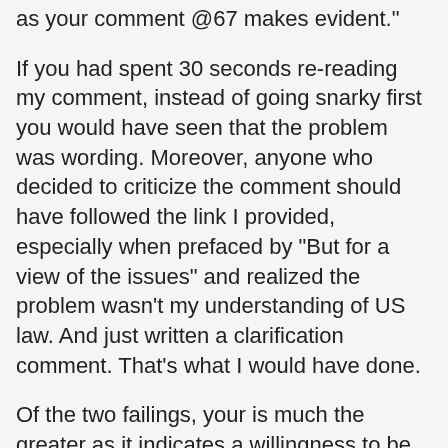as your comment @67 makes evident."
If you had spent 30 seconds re-reading my comment, instead of going snarky first you would have seen that the problem was wording. Moreover, anyone who decided to criticize the comment should have followed the link I provided, especially when prefaced by "But for a view of the issues" and realized the problem wasn't my understanding of US law. And just written a clarification comment. That's what I would have done.
Of the two failings, your is much the greater as it indicates a willingness to be snarky and criticize without bothering to do the slightest of research. This is huge failing of anti-vaxxers, but isn't confined to them. Me, I research first, especially if I am going to go all snarky.
In 68, I wrote:
"I'm Canadian, but the constitutional issue is that the US feds can preempt state law. The question